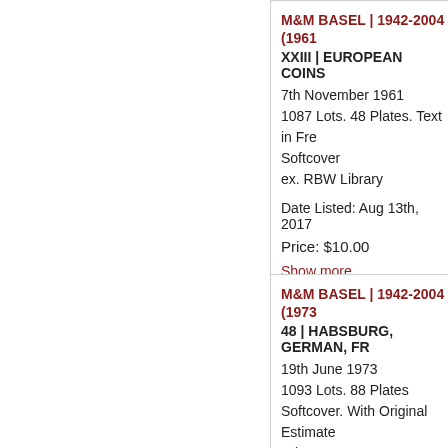M&M BASEL | 1942-2004 (1961
XXIII | EUROPEAN COINS
7th November 1961
1087 Lots. 48 Plates. Text in Fre...
Softcover
ex. RBW Library
Date Listed: Aug 13th, 2017
Price: $10.00
Show more...
M&M BASEL | 1942-2004 (1973
48 | HABSBURG, GERMAN, FR...
19th June 1973
1093 Lots. 88 Plates
Softcover. With Original Estimate Prices.
ex. RBW Library
Date Listed: Aug 13th, 2017
Price: $10.00